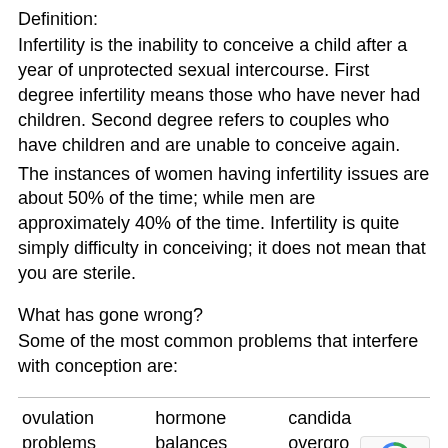Definition:
Infertility is the inability to conceive a child after a year of unprotected sexual intercourse. First degree infertility means those who have never had children. Second degree refers to couples who have children and are unable to conceive again.
The instances of women having infertility issues are about 50% of the time; while men are approximately 40% of the time. Infertility is quite simply difficulty in conceiving; it does not mean that you are sterile.
What has gone wrong?
Some of the most common problems that interfere with conception are:
| ovulation problems | hormone balances | candida overgrowth |
| --- | --- | --- |
| fibrocystic growths | endometriosis | hypothyroid |